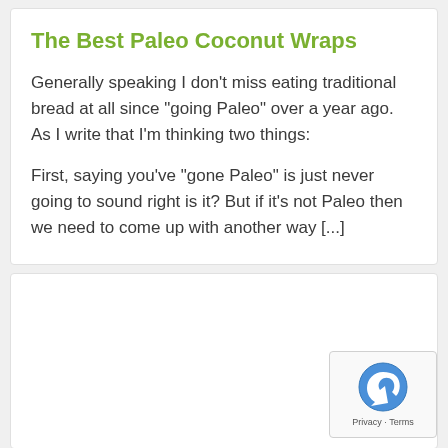The Best Paleo Coconut Wraps
Generally speaking I don’t miss eating traditional bread at all since “going Paleo” over a year ago.  As I write that I’m thinking two things:

First, saying you’ve “gone Paleo” is just never going to sound right is it?  But if it’s not Paleo then we need to come up with another way [...]
[Figure (other): Second card/article block with reCAPTCHA badge in bottom right corner showing privacy and terms link]